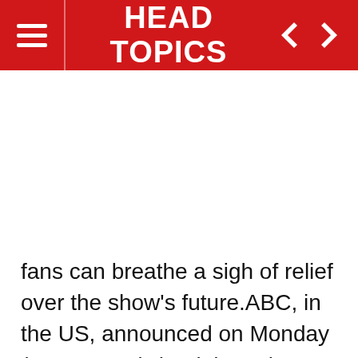HEAD TOPICS
fans can breathe a sigh of relief over the show's future.ABC, in the US, announced on Monday (January 10) that it has given the ratings juggernaut a 19th season, with Ellen